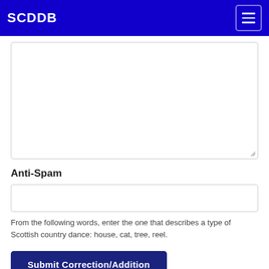SCDDB
[Figure (screenshot): Large empty textarea input field with resize handle at bottom right]
Anti-Spam
[Figure (screenshot): Single-line text input field for anti-spam answer]
From the following words, enter the one that describes a type of Scottish country dance: house, cat, tree, reel.
Submit Correction/Addition